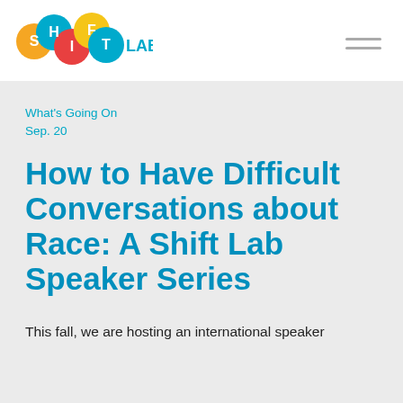[Figure (logo): Shift Lab logo with colorful overlapping circles containing letters S, H, I, F, T and the text LAB]
What's Going On
Sep. 20
How to Have Difficult Conversations about Race: A Shift Lab Speaker Series
This fall, we are hosting an international speaker